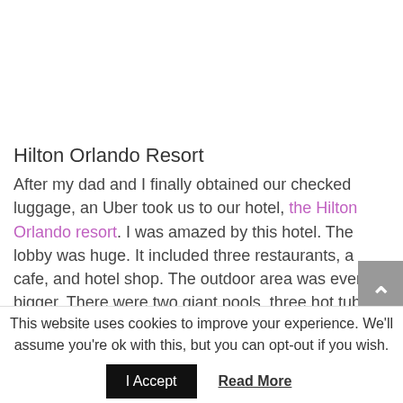Hilton Orlando Resort
After my dad and I finally obtained our checked luggage, an Uber took us to our hotel, the Hilton Orlando resort. I was amazed by this hotel. The lobby was huge. It included three restaurants, a cafe, and hotel shop. The outdoor area was even bigger. There were two giant pools, three hot tubs, a great lazy river, three-story water
This website uses cookies to improve your experience. We'll assume you're ok with this, but you can opt-out if you wish.